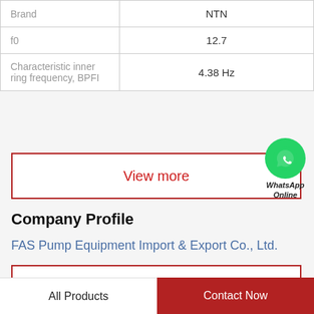| Property | Value |
| --- | --- |
| Brand | NTN |
| f0 | 12.7 |
| Characteristic inner ring frequency, BPFI | 4.38 Hz |
View more
[Figure (logo): WhatsApp green circle icon with phone handset, labeled WhatsApp Online]
Company Profile
FAS Pump Equipment Import & Export Co., Ltd.
View more
All Products   Contact Now